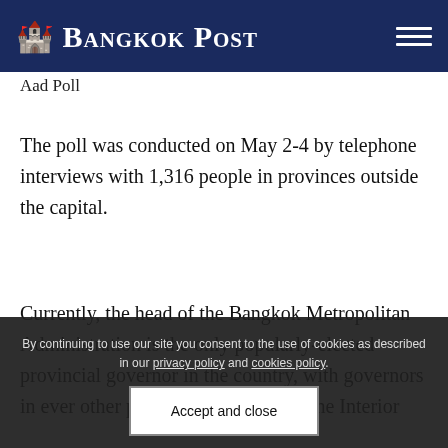Bangkok Post
Aad Poll
The poll was conducted on May 2-4 by telephone interviews with 1,316 people in provinces outside the capital.
Currently, the head of the Bangkok Metropolitan Administration is the only popularly-elected provincial governor in the country, with governors in ever other province appointed by the Interior
By continuing to use our site you consent to the use of cookies as described in our privacy policy and cookies policy.
Accept and close